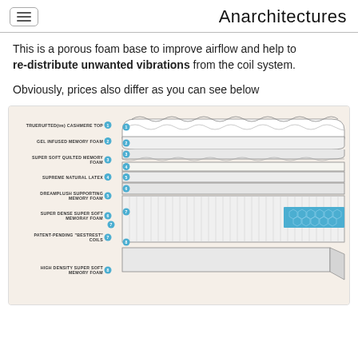Anarchitectures
This is a porous foam base to improve airflow and help to re-distribute unwanted vibrations from the coil system.
Obviously, prices also differ as you can see below
[Figure (illustration): Cross-sectional exploded diagram of a mattress showing 8 layers: 1. TRUERUFTED(tm) CASHMERE TOP, 2. GEL INFUSED MEMORY FOAM, 3. SUPER SOFT QUILTED MEMORY FOAM, 4. SUPREME NATURAL LATEX, 5. DREAMPLUSH SUPPORTING MEMORY FOAM, 6. SUPER DENSE SUPER SOFT MEMORAY FOAM, 7. PATENT-PENDING 'BESTREST' COILS, 8. HIGH DENSITY SUPER SOFT MEMORY FOAM]